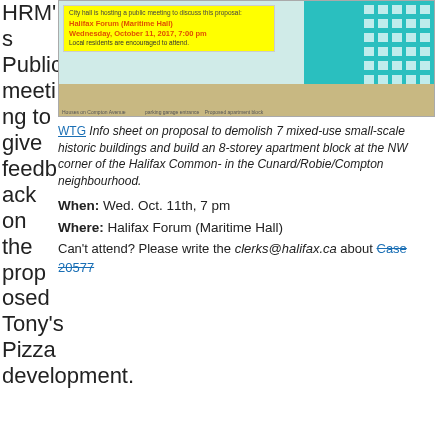HRM's Public meeting to give feedback on the proposed Tony's Pizza development.
[Figure (illustration): An architectural diagram showing a row of existing historic mixed-use buildings on Compton Avenue next to a proposed 8-storey teal apartment block with parking garage. A yellow box overlay announces a public meeting at Halifax Forum (Maritime Hall), Wednesday, October 11, 2017, 7:00 pm.]
WTG Info sheet on proposal to demolish 7 mixed-use small-scale historic buildings and build an 8-storey apartment block at the NW corner of the Halifax Common- in the Cunard/Robie/Compton neighbourhood.
When: Wed. Oct. 11th, 7 pm
Where: Halifax Forum (Maritime Hall)
Can't attend? Please write the clerks@halifax.ca about Case 20577